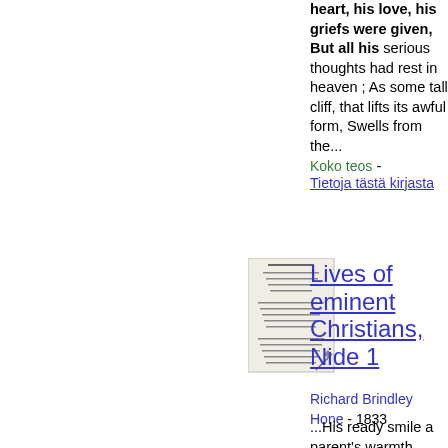heart, his love, his griefs were given, But all his serious thoughts had rest in heaven ; As some tall cliff, that lifts its awful form, Swells from the...
Koko teos - Tietoja tästä kirjasta
[Figure (illustration): Thumbnail image of book cover for Lives of eminent Christians, Nide 1]
Lives of eminent Christians, Nide 1
Richard Brindley Hone - 1833
...His ready smile a parent's warmth express'd, Their welfare pleased him, and their cares distress'd To them his